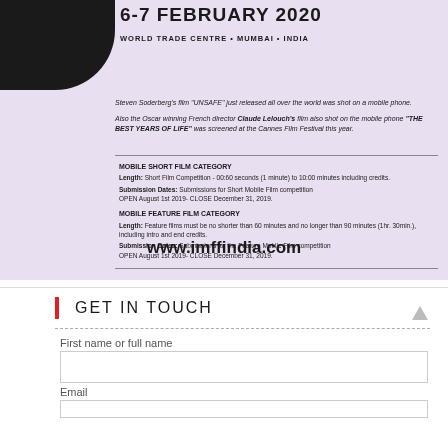6-7 FEBRUARY 2020
WORLD TRADE CENTRE • MUMBAI • INDIA
Steven Soderberg's film "UNSAFE" just released all over the world was shot on a mobile phone.
Also the Oscar winning French director Claude Lelouch's film also shot on the mobile phone "THE BEST YEARS OF LIFE" was screened at the Cannes Film Festival this year.
MOBILE SHORT FILM CATEGORY
Length: Short Film Competition - 00:60 seconds (1 minute) to 10:00 minutes including credits.
Submission Dates: Submissions for Short Mobile Film competition OPEN August 1st 2019- CLOSE December 31, 2019.
MOBILE FEATURE FILM CATEGORY
Length: Feature films must be no shorter than 60 minutes and no longer than 90 minutes (1hr. 30min.), including intro and end credits.
Submission Dates: Submissions for the Feature Mobile Film competition OPEN August 1st 2019- CLOSE December 31, 2019.
www.imffindia.com
GET IN TOUCH
First name or full name
Email